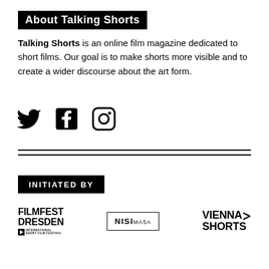About Talking Shorts
Talking Shorts is an online film magazine dedicated to short films. Our goal is to make shorts more visible and to create a wider discourse about the art form.
[Figure (illustration): Three social media icons: Twitter bird icon, Facebook icon, and Instagram icon, all in black.]
INITIATED BY
[Figure (logo): FILMFEST DRESDEN International Short Film Festival logo in black bold text]
[Figure (logo): NISIMASA logo in black text with a border box]
[Figure (logo): VIENNA SHORTS logo in black bold text with an arrow mark]